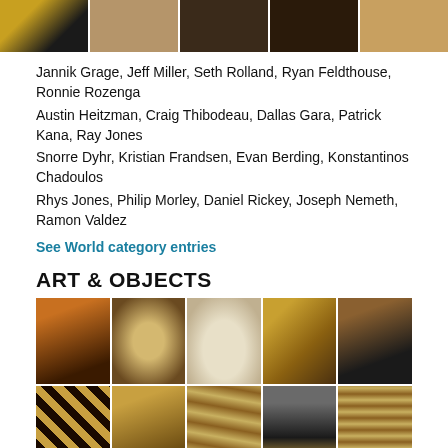[Figure (photo): Five images in a row showing wood furniture and art objects at the top of the page]
Jannik Grage, Jeff Miller, Seth Rolland, Ryan Feldthouse, Ronnie Rozenga
Austin Heitzman, Craig Thibodeau, Dallas Gara, Patrick Kana, Ray Jones
Snorre Dyhr, Kristian Frandsen, Evan Berding, Konstantinos Chadoulos
Rhys Jones, Philip Morley, Daniel Rickey, Joseph Nemeth, Ramon Valdez
See World category entries
ART & OBJECTS
[Figure (photo): Grid of ten photos showing art and objects including musical instruments (mandolin, ukulele), decorative wooden items, gears, and furniture, arranged in two rows of five]